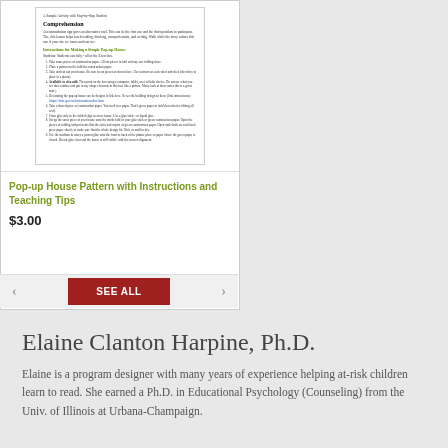[Figure (screenshot): A product card thumbnail showing a miniature document page titled 'Comprehension' with instructions for making a simple pop-up house, including numbered steps and a link.]
Pop-up House Pattern with Instructions and Teaching Tips
$3.00
Elaine Clanton Harpine, Ph.D.
Elaine is a program designer with many years of experience helping at-risk children learn to read. She earned a Ph.D. in Educational Psychology (Counseling) from the Univ. of Illinois at Urbana-Champaign.